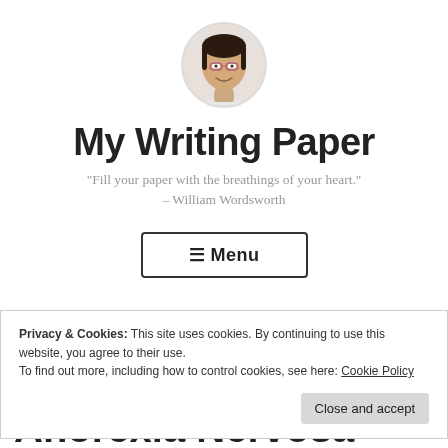[Figure (photo): Circular profile photo of an Asian woman with glasses, smiling, against a light background.]
My Writing Paper
“Fill your paper with the breathings of your heart.” – William Wordsworth
≡ Menu
Privacy & Cookies: This site uses cookies. By continuing to use this website, you agree to their use.
To find out more, including how to control cookies, see here: Cookie Policy
Close and accept
Anorexia Nervosa